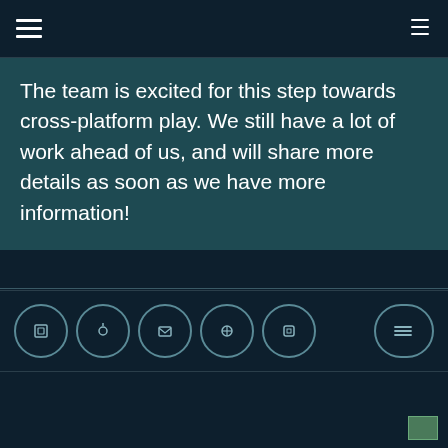Navigation bar with hamburger menu and icon
The team is excited for this step towards cross-platform play. We still have a lot of work ahead of us, and will share more details as soon as we have more information!
[Figure (infographic): Row of 5 social media icon buttons in circles and one share/menu button on the right]
[Figure (photo): Small thumbnail image in bottom right corner]